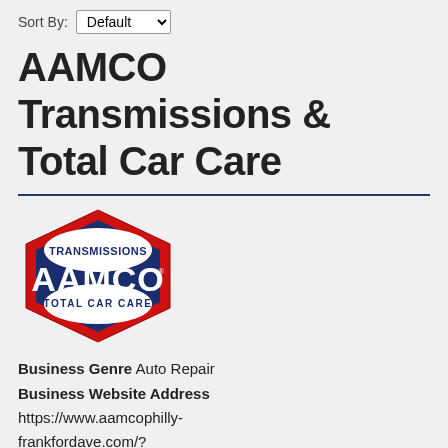Sort By: Default
AAMCO Transmissions & Total Car Care
[Figure (logo): AAMCO Transmissions Total Car Care logo — red hexagonal badge with dark blue interior, white text reading TRANSMISSIONS at top, AAMCO large in center, TOTAL CAR CARE at bottom]
Business Genre  Auto Repair
Business Website Address
https://www.aamcophilly-frankfordave.com/?utm_source=G&utm_medium=local&utm_campaign=go local